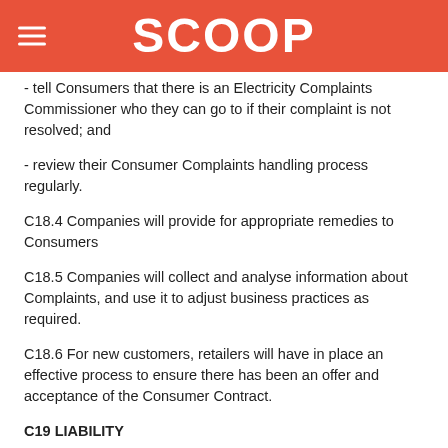SCOOP
- tell Consumers that there is an Electricity Complaints Commissioner who they can go to if their complaint is not resolved; and
- review their Consumer Complaints handling process regularly.
C18.4 Companies will provide for appropriate remedies to Consumers
C18.5 Companies will collect and analyse information about Complaints, and use it to adjust business practices as required.
C18.6 For new customers, retailers will have in place an effective process to ensure there has been an offer and acceptance of the Consumer Contract.
C19 LIABILITY
C19.1 Except as permitted under Clauses C19.2 and